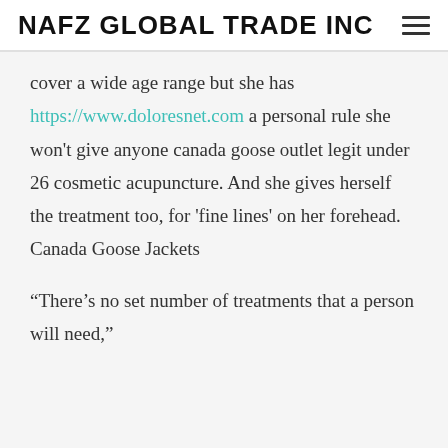NAFZ GLOBAL TRADE INC
cover a wide age range but she has https://www.doloresnet.com a personal rule she won't give anyone canada goose outlet legit under 26 cosmetic acupuncture. And she gives herself the treatment too, for 'fine lines' on her forehead. Canada Goose Jackets
“There’s no set number of treatments that a person will need,”